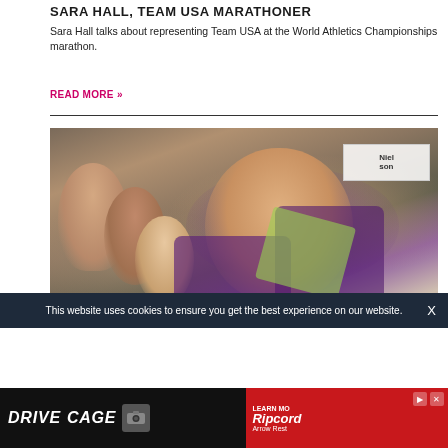SARA HALL, TEAM USA MARATHONER
Sara Hall talks about representing Team USA at the World Athletics Championships marathon.
READ MORE »
[Figure (photo): Group photo of female athletes smiling together, some wearing purple shirts, taken at a track and field venue with a Nielsen sponsor banner visible in the background.]
This website uses cookies to ensure you get the best experience on our website.
[Figure (infographic): Advertisement banner for Drive Cage product and Ripcord Arrow Rest, with black left side showing 'DRIVE CAGE' text and a camera/product image, and red right side showing Ripcord Arrow Rest branding.]